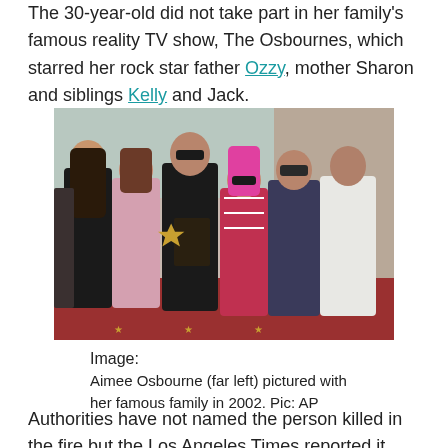The 30-year-old did not take part in her family's famous reality TV show, The Osbournes, which starred her rock star father Ozzy, mother Sharon and siblings Kelly and Jack.
[Figure (photo): Group photo of the Osbourne family at a Hollywood Walk of Fame ceremony in 2002. Aimee Osbourne is at far left. Ozzy Osbourne holds a star plaque in the center.]
Image:
Aimee Osbourne (far left) pictured with her famous family in 2002. Pic: AP
Authorities have not named the person killed in the fire but the Los Angeles Times reported it was Eduardo, wh